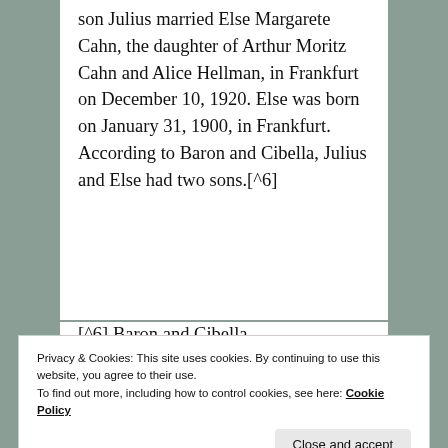son Julius married Else Margarete Cahn, the daughter of Arthur Moritz Cahn and Alice Hellman, in Frankfurt on December 10, 1920. Else was born on January 31, 1900, in Frankfurt. According to Baron and Cibella, Julius and Else had two sons.[^6]
[^6] Baron and Cibella...
Privacy & Cookies: This site uses cookies. By continuing to use this website, you agree to their use.
To find out more, including how to control cookies, see here: Cookie Policy
Close and accept